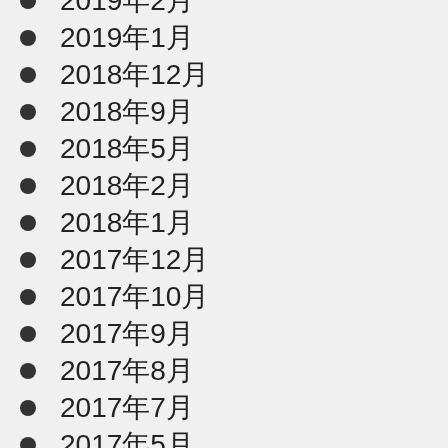2019年2月
2019年1月
2018年12月
2018年9月
2018年5月
2018年2月
2018年1月
2017年12月
2017年10月
2017年9月
2017年8月
2017年7月
2017年5月
2017年3月
2017年1月
2016年12月